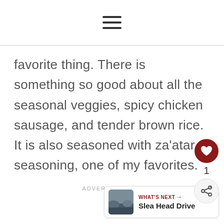[Figure (other): Hamburger menu icon — three horizontal lines centered at top of page]
favorite thing. There is something so good about all the seasonal veggies, spicy chicken sausage, and tender brown rice. It is also seasoned with za'atar seasoning, one of my favorites.
ADVERTISEMENT
[Figure (other): Heart (like) button — dark red circle with white heart icon, showing count of 1 below, and a share icon button below that]
[Figure (other): What's Next card — thumbnail image of Slea Head Drive, label WHAT'S NEXT with arrow, title Slea Head Drive]